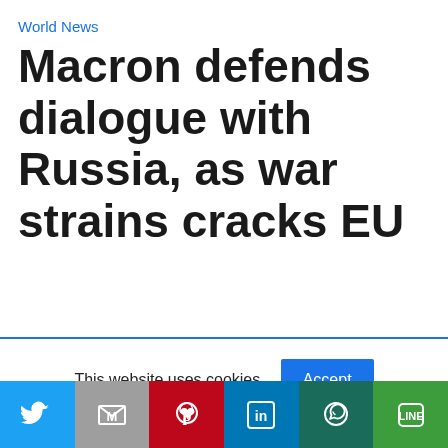World News
Macron defends dialogue with Russia, as war strains cracks EU
This website uses cookies.
Accept